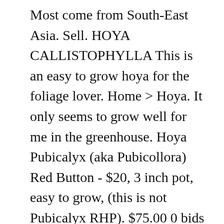Most come from South-East Asia. Sell. HOYA CALLISTOPHYLLA This is an easy to grow hoya for the foliage lover. Home > Hoya. It only seems to grow well for me in the greenhouse. Hoya Pubicalyx (aka Pubicollora) Red Button - $20, 3 inch pot, easy to grow, (this is not Pubicalyx RHP). $75.00 0 bids +$8.25 shipping. Firm price and pick up in Tacoma . 3 Node Cutting. Nepenthes (Pitcher Plants), Sarracenia (North American Pitcher Plants), Drosera (Sundews),  Dionaea (Venus Flytraps), Pinguicula (Butterworts) Carnivorous Plants, Hoya and Orchids For Sale (Canada Only). This gives you peace of mind when purchasing an expensive item as the description will say something similar to " the exact plant in the